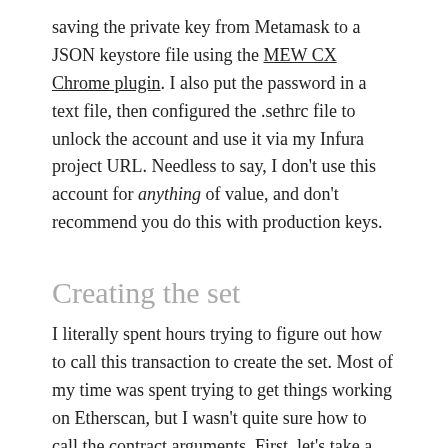saving the private key from Metamask to a JSON keystore file using the MEW CX Chrome plugin. I also put the password in a text file, then configured the .sethrc file to unlock the account and use it via my Infura project URL. Needless to say, I don't use this account for anything of value, and don't recommend you do this with production keys.
Creating the set
I literally spent hours trying to figure out how to call this transaction to create the set. Most of my time was spent trying to get things working on Etherscan, but I wasn't quite sure how to call the contract arguments. First, let's take a look at the function call parameters. Per the documentation:
function create(